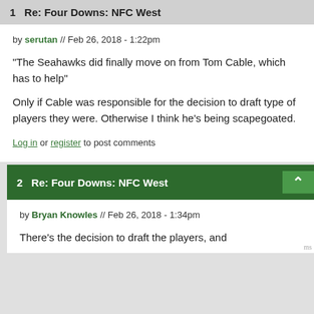1  Re: Four Downs: NFC West
by serutan // Feb 26, 2018 - 1:22pm
"The Seahawks did finally move on from Tom Cable, which has to help"
Only if Cable was responsible for the decision to draft type of players they were. Otherwise I think he's being scapegoated.
Log in or register to post comments
2  Re: Four Downs: NFC West
by Bryan Knowles // Feb 26, 2018 - 1:34pm
There's the decision to draft the players, and